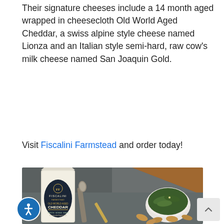Their signature cheeses include a 14 month aged wrapped in cheesecloth Old World Aged Cheddar, a swiss alpine style cheese named Lionza and an Italian style semi-hard, raw cow's milk cheese named San Joaquin Gold.
Visit Fiscalini Farmstead and order today!
[Figure (photo): Photo of Fiscalini Farmstead Old World Aged Cheddar cheese package with a spoon, a small white bowl of pickles/gherkins, and almonds on a slate surface.]